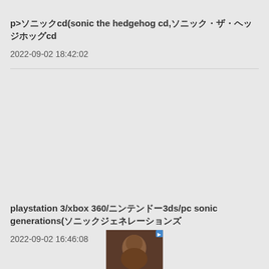p>ソニックcd(sonic the hedgehog cd,ソニック・ザ・ヘッジホッグcd
2022-09-02 18:42:02
playstation 3/xbox 360/ニンテンドー3ds/pc sonic generations(ソニックジェネレーションズ
2022-09-02 16:46:08
[Figure (photo): Thumbnail image of a person at the bottom center of the page]